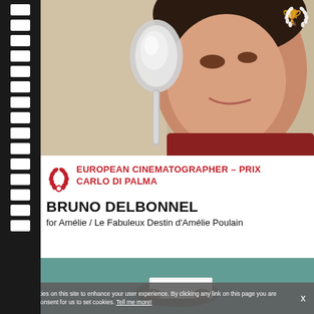[Figure (photo): Close-up photo of a young woman with short dark hair, smiling and holding a silver spoon up near her face. She is wearing a red top. The background shows soft curtains.]
EUROPEAN CINEMATOGRAPHER – PRIX CARLO DI PALMA
BRUNO DELBONNEL
for Amélie / Le Fabuleux Destin d'Amélie Poulain
[Figure (photo): Partial photo showing hands holding what appears to be a white rectangular object against a teal/green background.]
We use cookies on this site to enhance your user experience. By clicking any link on this page you are giving your consent for us to set cookies. Tell me more!